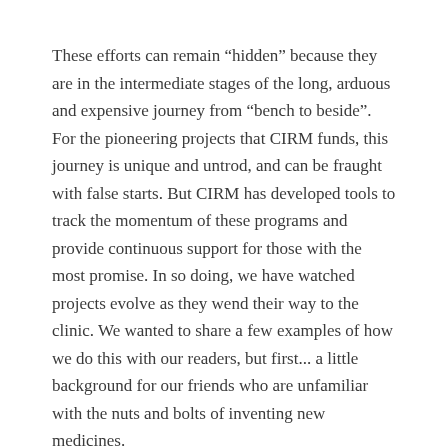These efforts can remain “hidden” because they are in the intermediate stages of the long, arduous and expensive journey from “bench to beside”. For the pioneering projects that CIRM funds, this journey is unique and untrod, and can be fraught with false starts. But CIRM has developed tools to track the momentum of these programs and provide continuous support for those with the most promise. In so doing, we have watched projects evolve as they wend their way to the clinic. We wanted to share a few examples of how we do this with our readers, but first... a little background for our friends who are unfamiliar with the nuts and bolts of inventing new medicines.
A common metaphor for bringing scientific discoveries to market is a pipeline, which begins in a laboratory: